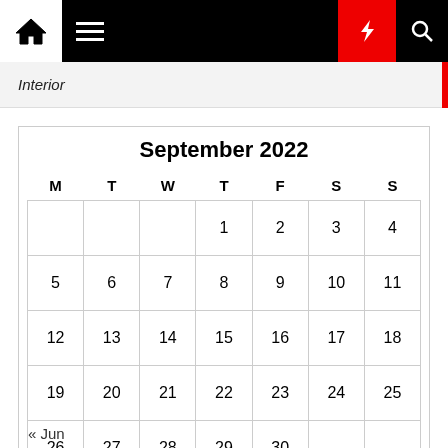[Figure (screenshot): Top navigation bar with home icon, hamburger menu, moon icon, red lightning bolt icon, and search icon]
Interior
| M | T | W | T | F | S | S |
| --- | --- | --- | --- | --- | --- | --- |
|  |  |  | 1 | 2 | 3 | 4 |
| 5 | 6 | 7 | 8 | 9 | 10 | 11 |
| 12 | 13 | 14 | 15 | 16 | 17 | 18 |
| 19 | 20 | 21 | 22 | 23 | 24 | 25 |
| 26 | 27 | 28 | 29 | 30 |  |  |
« Jun